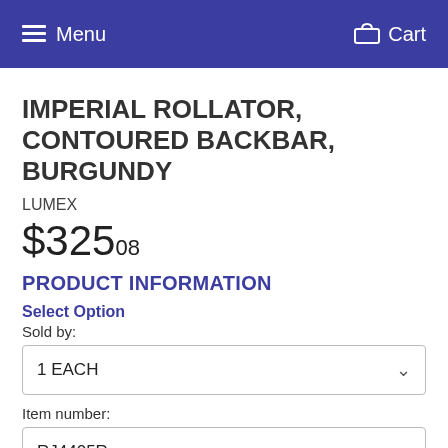Menu  Cart
IMPERIAL ROLLATOR, CONTOURED BACKBAR, BURGUNDY
LUMEX
$325.08
PRODUCT INFORMATION
Select Option
Sold by:
1 EACH
Item number:
RJ4405R